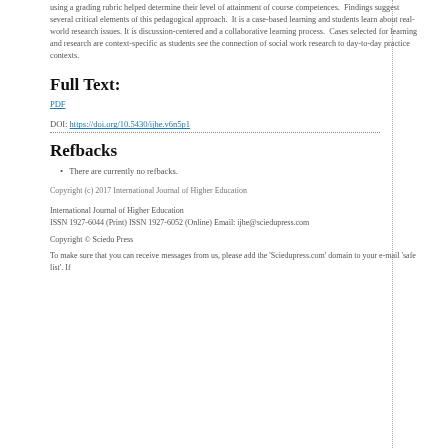using a grading rubric helped determine their level of attainment of course competences. Findings suggest several critical elements of this pedagogical approach. It is a case-based learning and students learn about real-world research issues. It is discussion-centered and a collaborative learning process. Cases selected for learning and research are context-specific as students see the connection of social work research to day-to-day practice contexts.
Full Text:
PDF
DOI: https://doi.org/10.5430/ijhe.v6n5p1
Refbacks
There are currently no refbacks.
Copyright (c) 2017 International Journal of Higher Education
International Journal of Higher Education
ISSN 1927-6044 (Print) ISSN 1927-6052 (Online) Email: ijhe@sciedupress.com
Copyright © Sciedu Press
To make sure that you can receive messages from us, please add the 'Sciedupress.com' domain to your e-mail 'safe list'. If